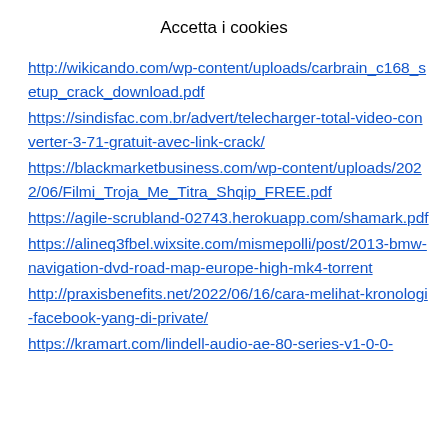Accetta i cookies
http://wikicando.com/wp-content/uploads/carbrain_c168_setup_crack_download.pdf
https://sindisfac.com.br/advert/telecharger-total-video-converter-3-71-gratuit-avec-link-crack/
https://blackmarketbusiness.com/wp-content/uploads/2022/06/Filmi_Troja_Me_Titra_Shqip_FREE.pdf
https://agile-scrubland-02743.herokuapp.com/shamark.pdf
https://alineq3fbel.wixsite.com/mismepolli/post/2013-bmw-navigation-dvd-road-map-europe-high-mk4-torrent
http://praxisbenefits.net/2022/06/16/cara-melihat-kronologi-facebook-yang-di-private/
https://kramart.com/lindell-audio-ae-80-series-v1-0-0-